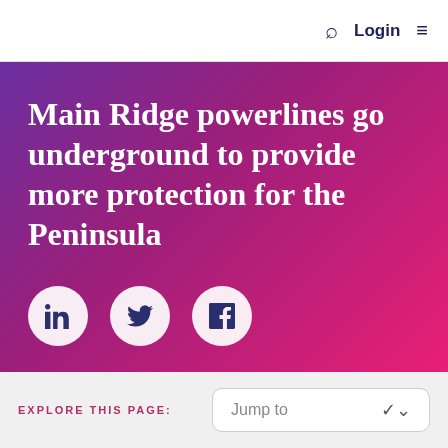Login
Main Ridge powerlines go underground to provide more protection for the Peninsula
[Figure (infographic): Social share icons: LinkedIn, Twitter/X, and Facebook as white circles on gradient background]
EXPLORE THIS PAGE:
Jump to